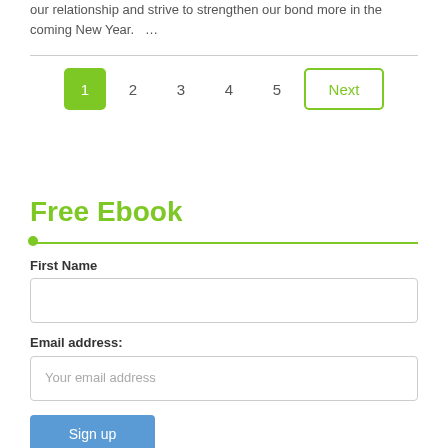our relationship and strive to strengthen our bond more in the coming New Year.   …
[Figure (other): Pagination controls showing pages 1 through 5 and a Next button, with page 1 highlighted in green]
Free Ebook
First Name
Email address:
Your email address
Sign up